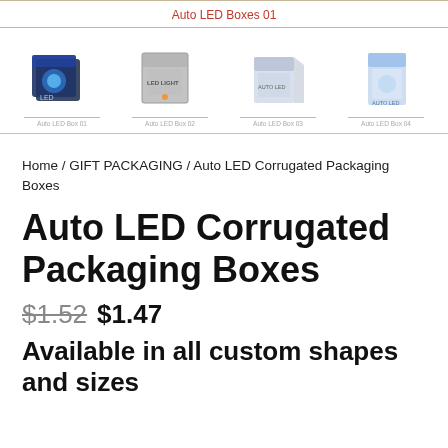Auto LED Boxes 01
[Figure (photo): Four product images of Auto LED Corrugated Packaging Boxes shown side by side with small label text below each image.]
Home / GIFT PACKAGING / Auto LED Corrugated Packaging Boxes
Auto LED Corrugated Packaging Boxes
$1.52 $1.47
Available in all custom shapes and sizes